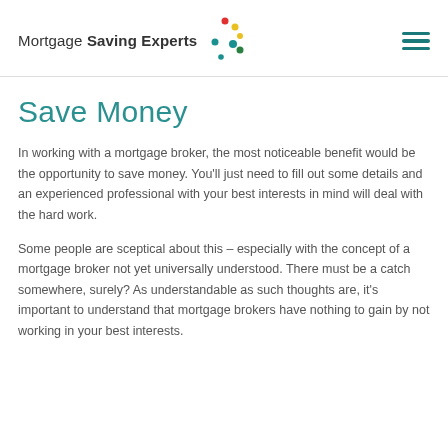[Figure (logo): Mortgage Saving Experts logo with coloured dots and hamburger menu icon]
Save Money
In working with a mortgage broker, the most noticeable benefit would be the opportunity to save money. You'll just need to fill out some details and an experienced professional with your best interests in mind will deal with the hard work.
Some people are sceptical about this – especially with the concept of a mortgage broker not yet universally understood. There must be a catch somewhere, surely? As understandable as such thoughts are, it's important to understand that mortgage brokers have nothing to gain by not working in your best interests.